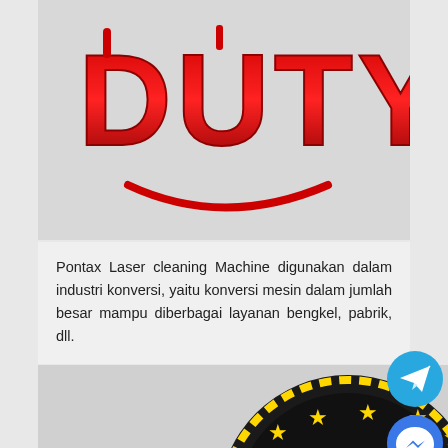[Figure (logo): DUTY logo in bold red 3D letters with a red smiley face arc below, on a light gray background]
Pontax Laser cleaning Machine digunakan dalam industri konversi, yaitu konversi mesin dalam jumlah besar mampu diberbagai layanan bengkel, pabrik, dll.
[Figure (logo): Gold and black coin with a large number 1 and stars around it on a dark circular background with gold dotted border]
[Figure (logo): Telegram social media button - cyan circle with paper plane icon]
[Figure (logo): Facebook Messenger social media button - blue circle with lightning bolt messenger icon]
[Figure (logo): WhatsApp social media button - green circle with phone/chat icon]